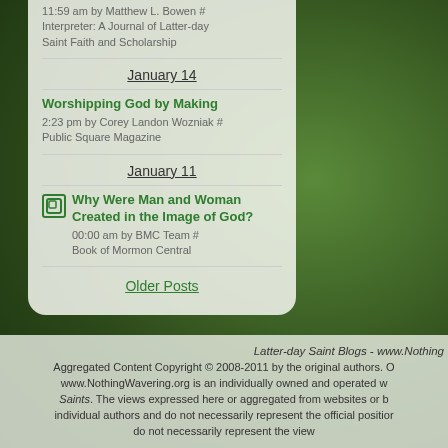11:59 am by Matthew L. Bowen # Interpreter: A Journal of Latter-day Saint Faith and Scholarship
January 14
Worshipping God by Making
2:23 pm by Corey Landon Wozniak # Public Square Magazine
January 11
Why Were Man and Woman Created in the Image of God?
00:00 am by BMC Team # Book of Mormon Central
Older Posts
Latter-day Saint Blogs - www.Nothing
Aggregated Content Copyright © 2008-2011 by the original authors. O
www.NothingWavering.org is an individually owned and operated w
Saints. The views expressed here or aggregated from websites or b individual authors and do not necessarily represent the official positior do not necessarily represent the view